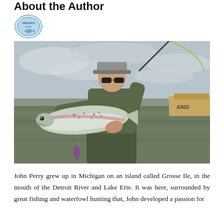About the Author
[Figure (logo): Angler's Atlas or similar fishing/outdoor brand logo — circular badge style with text and imagery]
[Figure (photo): A man wearing a cap and sunglasses stands wading in water, holding a large rainbow trout with both hands. He holds a fly fishing rod in one hand. A boat with partial text 'ANGI...' is visible in the background. Overcast sky.]
John Perry grew up in Michigan on an island called Grosse Ile, in the mouth of the Detroit River and Lake Erie. It was here, surrounded by great fishing and waterfowl hunting that, John developed a passion for